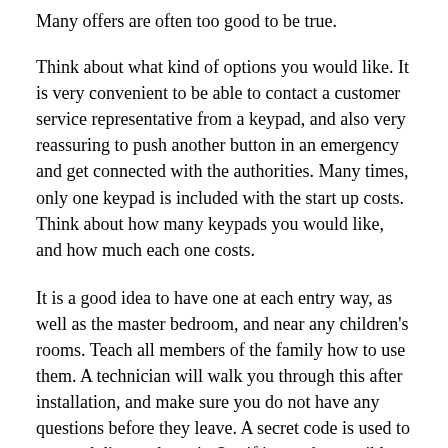Many offers are often too good to be true.
Think about what kind of options you would like. It is very convenient to be able to contact a customer service representative from a keypad, and also very reassuring to push another button in an emergency and get connected with the authorities. Many times, only one keypad is included with the start up costs. Think about how many keypads you would like, and how much each one costs.
It is a good idea to have one at each entry way, as well as the master bedroom, and near any children's rooms. Teach all members of the family how to use them. A technician will walk you through this after installation, and make sure you do not have any questions before they leave. A secret code is used to arm and disarm the unit. See if it may be possible to assign each family member a different code. This is